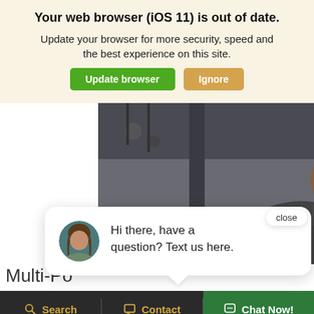Your web browser (iOS 11) is out of date.
Update your browser for more security, speed and the best experience on this site.
Update browser   Ignore
[Figure (photo): A mechanic in a grey shirt and safety glasses working under a vehicle in a garage/auto shop setting]
close
Hi there, have a question? Text us here.
Multi-Po
FREE
Search   Contact   Chat Now!